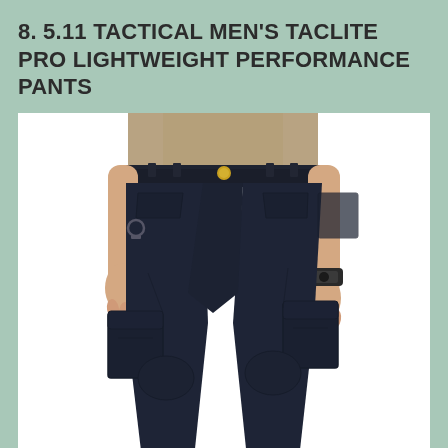8. 5.11 TACTICAL MEN'S TACLITE PRO LIGHTWEIGHT PERFORMANCE PANTS
[Figure (photo): A man wearing navy/dark blue 5.11 Tactical TacLite Pro cargo pants. The image shows from the waist down, with visible cargo pockets on the sides, a gold button at the waistband, and the man is also wearing a watch on his right wrist. The pants have multiple utility pockets and articulated knees.]